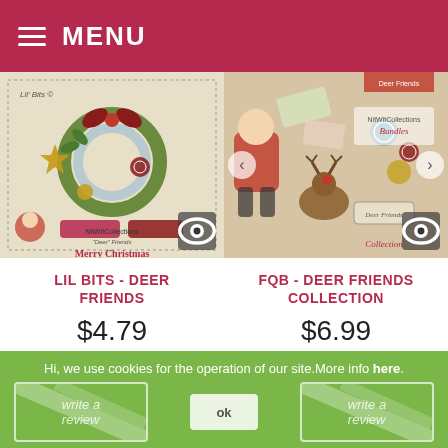MENU
[Figure (photo): Christmas scrapbooking product image: Lil Bits - Deer Friends by NitWitCollections, showing wreath and Christmas elements]
LIL BITS - DEER FRIENDS
$4.79
[Figure (photo): Christmas scrapbooking product image: FQB - Deer Friends Collection by NitWitCollections, showing Santa and reindeer elements]
FQB - DEER FRIENDS COLLECTION
$6.99
Hi, we use cookies for the operation of our site. More info here.